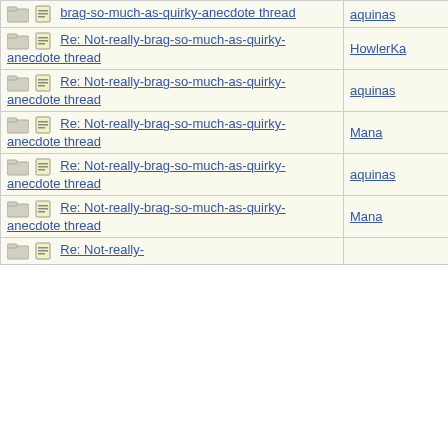| Subject | Author |
| --- | --- |
| brag-so-much-as-quirky-anecdote thread | aquinas |
| Re: Not-really-brag-so-much-as-quirky-anecdote thread | HowlerKa |
| Re: Not-really-brag-so-much-as-quirky-anecdote thread | aquinas |
| Re: Not-really-brag-so-much-as-quirky-anecdote thread | Mana |
| Re: Not-really-brag-so-much-as-quirky-anecdote thread | aquinas |
| Re: Not-really-brag-so-much-as-quirky-anecdote thread | Mana |
| Re: Not-really- |  |